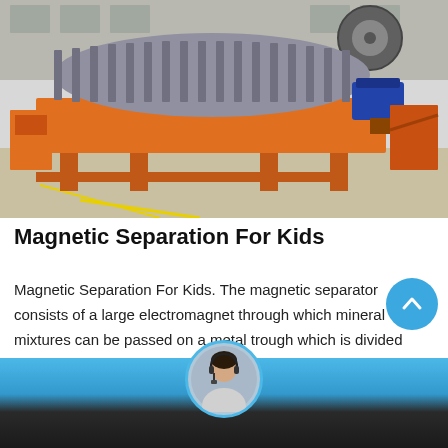[Figure (photo): Photo of a large industrial orange magnetic separator machine with a rotating drum/cylinder on top, metal framework, and an electric motor on the right side, photographed outdoors on a concrete surface with a factory building in the background.]
Magnetic Separation For Kids
Magnetic Separation For Kids. The magnetic separator consists of a large electromagnet through which mineral mixtures can be passed on a metal trough which is divided near its exit end Varying the
[Figure (photo): Avatar/headshot of a customer service representative woman wearing a headset, shown in a circular frame at the bottom center of the page.]
Leave Message
Chat Online